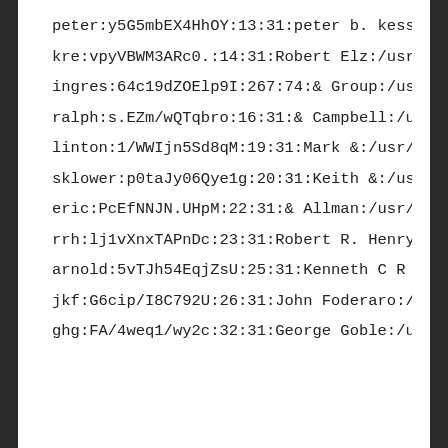peter:y5G5mbEX4HhOY:13:31:peter b. kess.
kre:vpyVBWM3ARc0.:14:31:Robert Elz:/usr.
ingres:64c19dZOElp9I:267:74:& Group:/us
ralph:s.EZm/wQTqbro:16:31:& Campbell:/u
linton:1/WWIjn5Sd8qM:19:31:Mark &:/usr/
sklower:p0taJy06Qye1g:20:31:Keith &:/us
eric:PcEfNNJN.UHpM:22:31:& Allman:/usr/
rrh:lj1vXnxTAPnDc:23:31:Robert R. Henry
arnold:5vTJh54EqjZsU:25:31:Kenneth C R
jkf:G6cip/I8C792U:26:31:John Foderaro:/
ghg:FA/4weq1/wy2c:32:31:George Goble:/u